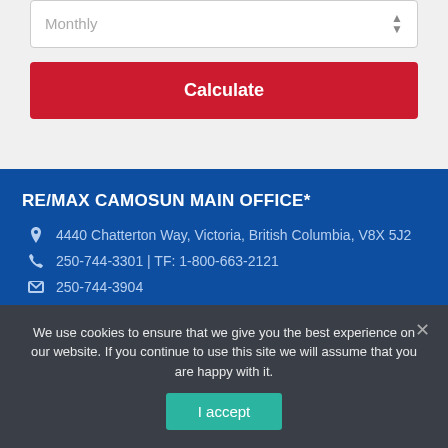Monthly
Calculate
RE/MAX CAMOSUN MAIN OFFICE*
4440 Chatterton Way, Victoria, British Columbia, V8X 5J2
250-744-3301 | TF: 1-800-663-2121
250-744-3904
We use cookies to ensure that we give you the best experience on our website. If you continue to use this site we will assume that you are happy with it.
I accept